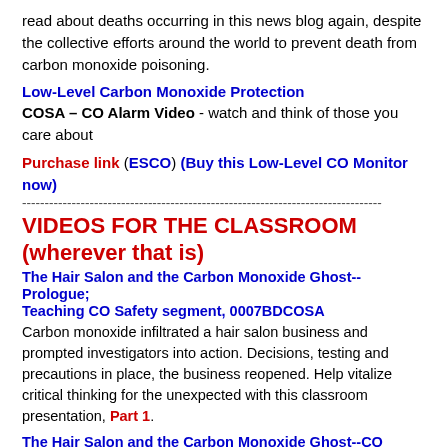read about deaths occurring in this news blog again, despite the collective efforts around the world to prevent death from carbon monoxide poisoning.
Low-Level Carbon Monoxide Protection
COSA – CO Alarm Video - watch and think of those you care about
Purchase link (ESCO) (Buy this Low-Level CO Monitor now)
--------------------------------------------------------------------------------
VIDEOS FOR THE CLASSROOM (wherever that is)
The Hair Salon and the Carbon Monoxide Ghost--Prologue; Teaching CO Safety segment, 0007BDCOSA
Carbon monoxide infiltrated a hair salon business and prompted investigators into action. Decisions, testing and precautions in place, the business reopened. Help vitalize critical thinking for the unexpected with this classroom presentation, Part 1.
The Hair Salon and the Carbon Monoxide Ghost--CO Returns; Teaching CO Safety, segment 0008BDCOSA
Precautions in place and the business reopened; the carbon monoxide incident appeared to be an anomaly in normal function of a gas water heater. But then, the carbon monoxide ghost let its presence be known, and the investigators are back at it in Part 2 of this classroom presentation.
PART 3